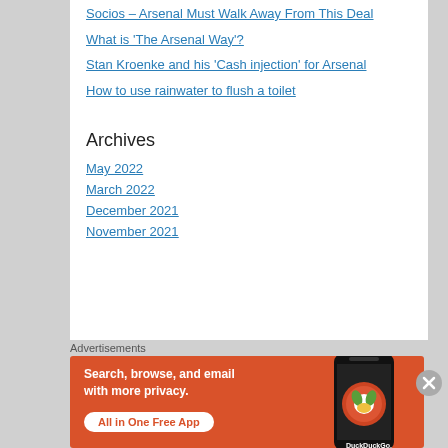Socios – Arsenal Must Walk Away From This Deal
What is 'The Arsenal Way'?
Stan Kroenke and his 'Cash injection' for Arsenal
How to use rainwater to flush a toilet
Archives
May 2022
March 2022
December 2021
November 2021
Advertisements
[Figure (infographic): DuckDuckGo advertisement banner: orange background with text 'Search, browse, and email with more privacy. All in One Free App' with a phone showing DuckDuckGo logo]